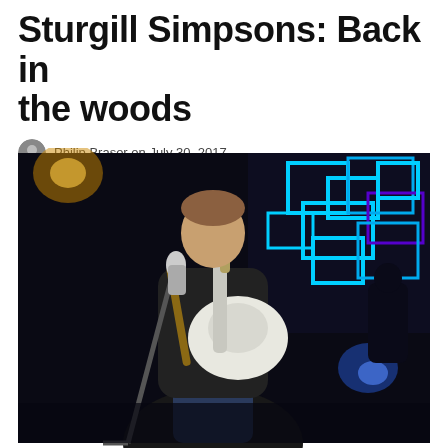Sturgill Simpsons: Back in the woods
Philip Brasor on July 30, 2017
[Figure (photo): A musician playing an electric guitar on stage, standing in front of a microphone, wearing a dark jacket. The stage background features neon blue geometric shapes. Concert performance photograph.]